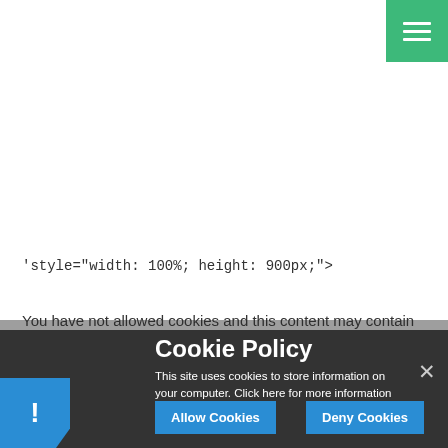[Figure (screenshot): Green hamburger menu button in top-right corner with three white horizontal lines]
'style="width: 100%; height: 900px;">
You have not allowed cookies and this content may contain cookies.
[Figure (screenshot): Cookie Policy banner overlay with dark background showing title 'Cookie Policy', description text, Allow Cookies and Deny Cookies buttons, close X button, and blue exclamation icon.]
Cookie Policy
This site uses cookies to store information on your computer. Click here for more information
Allow Cookies
Deny Cookies